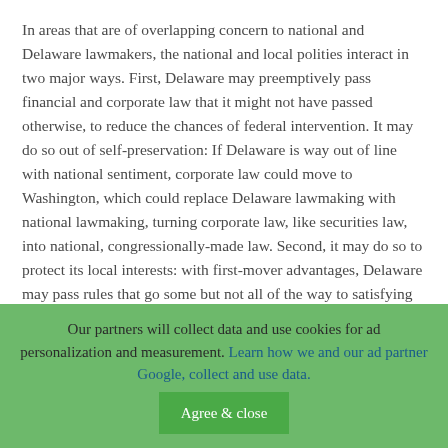In areas that are of overlapping concern to national and Delaware lawmakers, the national and local polities interact in two major ways. First, Delaware may preemptively pass financial and corporate law that it might not have passed otherwise, to reduce the chances of federal intervention. It may do so out of self-preservation: If Delaware is way out of line with national sentiment, corporate law could move to Washington, which could replace Delaware lawmaking with national lawmaking, turning corporate law, like securities law, into national, congressionally-made law. Second, it may do so to protect its local interests: with first-mover advantages, Delaware may pass rules that go some but not all of the way to satisfying the national appetite. Doing so would allow it to preserve as much autonomy for managers (or value for shareholders) as possible, by persuading the national player that enough had been done, so that the national players need not act. This is analogous to the process Spiller and Gely (2008) posited for the Supreme Court, by which the Court often decides in ways to diminish the chance of congressional action by assigning a statutory meaning from among the
Our partners will collect data and use cookies for ad personalization and measurement. Learn how we and our ad partner Google, collect and use data. [Agree & close]